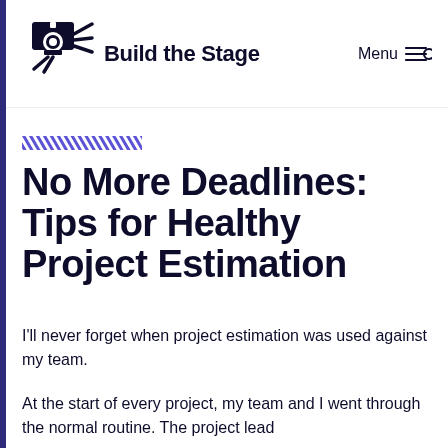Build the Stage
[Figure (illustration): Decorative hatched/striped purple rectangular bar used as a visual accent above the article title]
No More Deadlines: Tips for Healthy Project Estimation
I'll never forget when project estimation was used against my team.
At the start of every project, my team and I went through the normal routine. The project lead